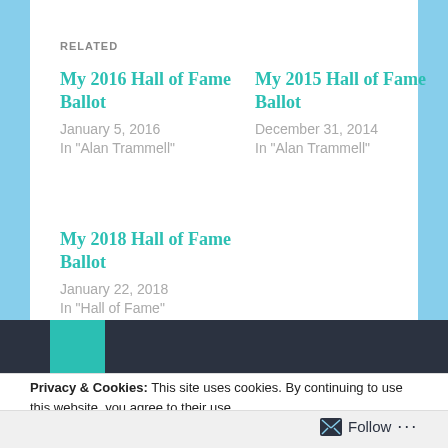RELATED
My 2016 Hall of Fame Ballot
January 5, 2016
In "Alan Trammell"
My 2015 Hall of Fame Ballot
December 31, 2014
In "Alan Trammell"
My 2018 Hall of Fame Ballot
January 22, 2018
In "Hall of Fame"
Privacy & Cookies: This site uses cookies. By continuing to use this website, you agree to their use.
To find out more, including how to control cookies, see here: Cookie Policy
Close and accept
Follow